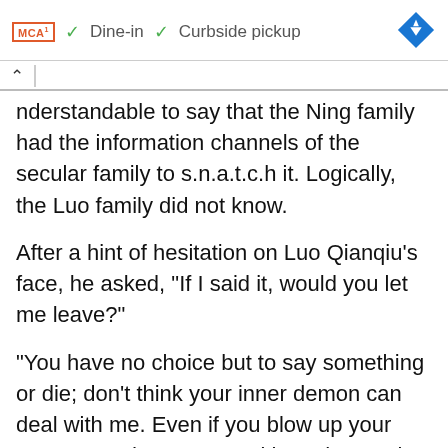MCA  ✓ Dine-in  ✓ Curbside pickup
nderstandable to say that the Ning family had the information channels of the secular family to s.n.a.t.c.h it. Logically, the Luo family did not know.
After a hint of hesitation on Luo Qianqiu's face, he asked, "If I said it, would you let me leave?"
"You have no choice but to say something or die; don't think your inner demon can deal with me. Even if you blow up your core, I can destroy you with my heavenly lightning first." Yang Chen a.s.serted himself arroga
Luo Qianqiu's face twitched, and he gritted his teeth and